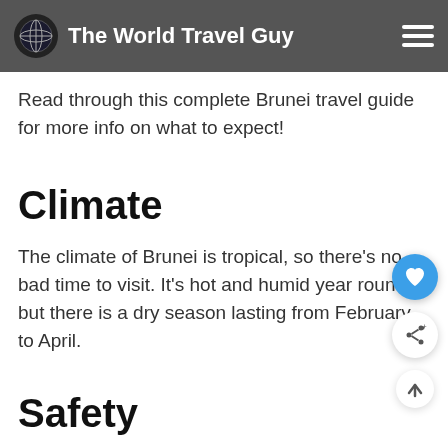The World Travel Guy
Southeast Asia, after all).
Read through this complete Brunei travel guide for more info on what to expect!
Climate
The climate of Brunei is tropical, so there's no bad time to visit. It's hot and humid year round, but there is a dry season lasting from February to April.
Safety
Brunei is one of the safest countries in the world, with an extremely low violent crime rate of 0.5 per 100k